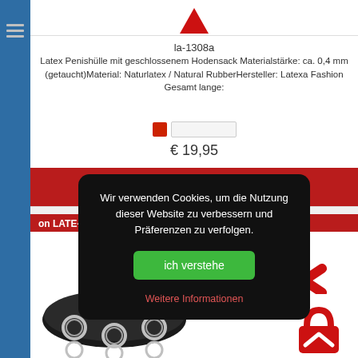la-1308a
Latex Penishülle mit geschlossenem Hodensack Materialstärke: ca. 0,4 mm (getaucht)Material: Naturlatex / Natural RubberHersteller: Latexa Fashion Gesamt lange:
€ 19,95
In den Warenkorb legen
on LATE-X
Wir verwenden Cookies, um die Nutzung dieser Website zu verbessern und Präferenzen zu verfolgen.
ich verstehe
Weitere Informationen